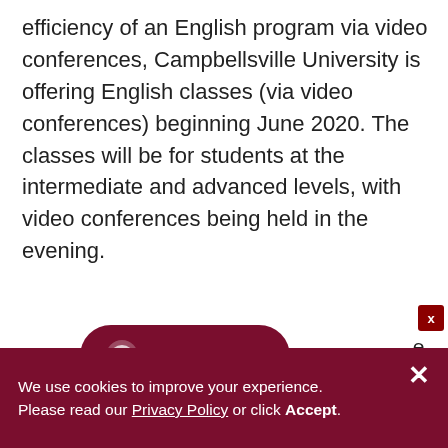efficiency of an English program via video conferences, Campbellsville University is offering English classes (via video conferences) beginning June 2020. The classes will be for students at the intermediate and advanced levels, with video conferences being held in the evening.
[Figure (screenshot): A tablet device showing a video conference interface with multiple participants, and a dark red 'Chat with us' chat button pill overlay. A small close (X) button appears in the top-right corner of the chat widget. Partial text visible on right: 'e' and '/un' and 'foundation...'.]
We use cookies to improve your experience. Please read our Privacy Policy or click Accept.